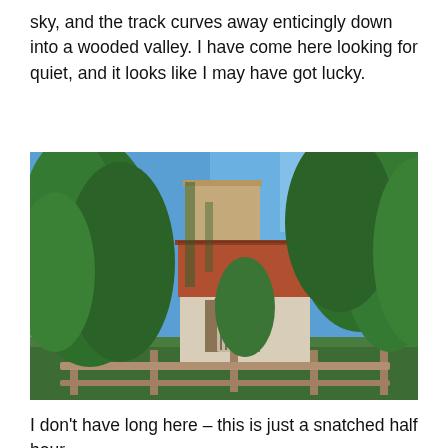sky, and the track curves away enticingly down into a wooded valley. I have come here looking for quiet, and it looks like I may have got lucky.
[Figure (photo): A historic stone church with a square brick tower, partially hidden among lush green trees, with a red-tiled roof and a wooden lychgate in the foreground, photographed on a bright sunny day with blue sky.]
I don't have long here – this is just a snatched half hour,